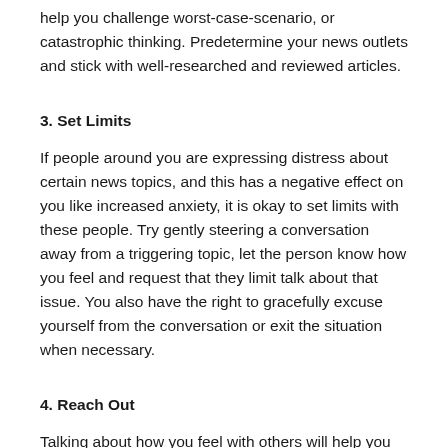help you challenge worst-case-scenario, or catastrophic thinking. Predetermine your news outlets and stick with well-researched and reviewed articles.
3. Set Limits
If people around you are expressing distress about certain news topics, and this has a negative effect on you like increased anxiety, it is okay to set limits with these people. Try gently steering a conversation away from a triggering topic, let the person know how you feel and request that they limit talk about that issue. You also have the right to gracefully excuse yourself from the conversation or exit the situation when necessary.
4. Reach Out
Talking about how you feel with others will help you cope with difficult emotions and strong reactions to news stories. Be sure to choose people that you feel